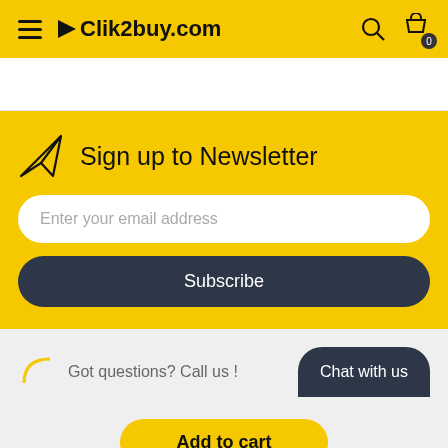Clik2buy.com
Sign up to Newsletter
Enter your email address
Subscribe
Got questions? Call us !
Chat with us
Add to cart